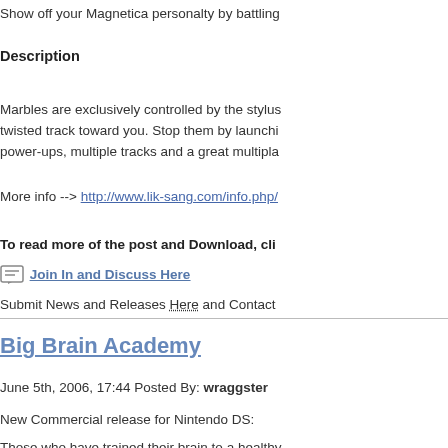Show off your Magnetica personalty by battling
Description
Marbles are exclusively controlled by the stylus twisted track toward you. Stop them by launchi power-ups, multiple tracks and a great multipla
More info --> http://www.lik-sang.com/info.php/
To read more of the post and Download, cli
Join In and Discuss Here
Submit News and Releases Here and Contact
Big Brain Academy
June 5th, 2006, 17:44 Posted By: wraggster
New Commercial release for Nintendo DS:
Those who have trained their brain to a healthy title includes a series of brainstimulating exerci identify cognitive strengths and weaknesses, p categories.